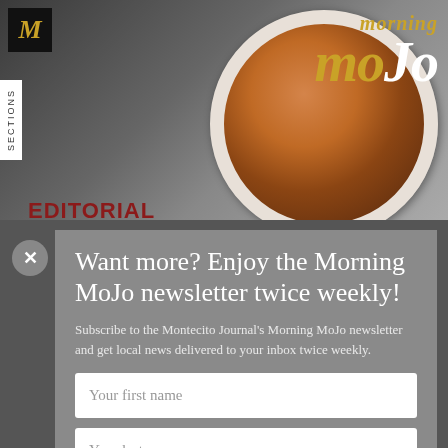[Figure (screenshot): Top section showing website header with dark photo background, M logo, Sections tab, editorial label, and Morning MoJo branding with coffee cup image]
Want more? Enjoy the Morning MoJo newsletter twice weekly!
Subscribe to the Montecito Journal's Morning MoJo newsletter and get local news delivered to your inbox twice weekly.
Your first name
Your last name
Your email address